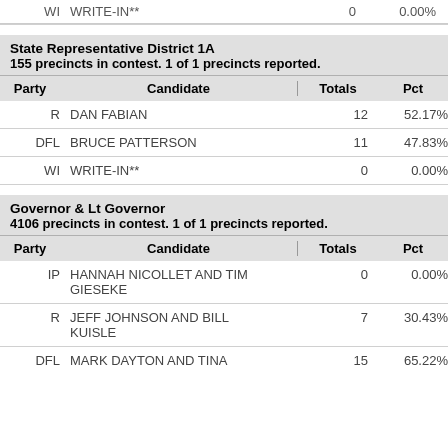| Party | Candidate | Totals | Pct |
| --- | --- | --- | --- |
| WI | WRITE-IN** | 0 | 0.00% |
State Representative District 1A
155 precincts in contest. 1 of 1 precincts reported.
| Party | Candidate | Totals | Pct |
| --- | --- | --- | --- |
| R | DAN FABIAN | 12 | 52.17% |
| DFL | BRUCE PATTERSON | 11 | 47.83% |
| WI | WRITE-IN** | 0 | 0.00% |
Governor & Lt Governor
4106 precincts in contest. 1 of 1 precincts reported.
| Party | Candidate | Totals | Pct |
| --- | --- | --- | --- |
| IP | HANNAH NICOLLET AND TIM GIESEKE | 0 | 0.00% |
| R | JEFF JOHNSON AND BILL KUISLE | 7 | 30.43% |
| DFL | MARK DAYTON AND TINA | 15 | 65.22% |